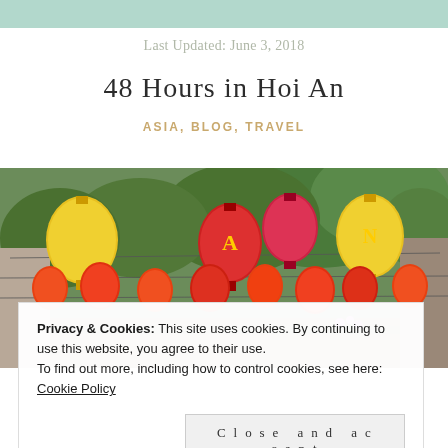Last Updated: June 3, 2018
48 Hours in Hoi An
ASIA, BLOG, TRAVEL
[Figure (photo): Street scene in Hoi An with colorful lanterns (red, orange, yellow) hanging between buildings amid lush green trees]
Privacy & Cookies: This site uses cookies. By continuing to use this website, you agree to their use.
To find out more, including how to control cookies, see here: Cookie Policy
Close and accept